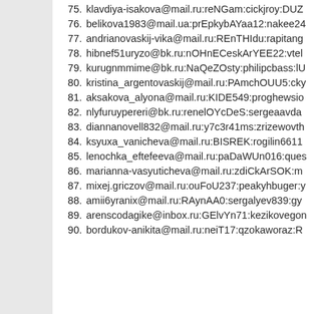75. klavdiya-isakova@mail.ru:reNGam:cickjroy:DUZ
76. belikova1983@mail.ua:prEpkybAYaa12:nakee24
77. andrianovaskij-vika@mail.ru:REnTHIdu:rapitang
78. hibnef51uryzo@bk.ru:nOHnECeskArYEE22:vtel
79. kurugnmmime@bk.ru:NaQeZOsty:philipcbass:lU
80. kristina_argentovaskij@mail.ru:PAmchOUU5:cky
81. aksakova_alyona@mail.ru:KIDE549:proghewsio
82. nlyfuruypereri@bk.ru:renelOYcDeS:sergeaavda
83. diannanovell832@mail.ru:y7c3r41ms:zrizewovth
84. ksyuxa_vanicheva@mail.ru:BISREK:rogilin6611
85. lenochka_eftefeeva@mail.ru:paDaWUn016:ques
86. marianna-vasyuticheva@mail.ru:zdiCkArSOK:m
87. mixej.griczov@mail.ru:ouFoU237:peakyhbuger:y
88. amii6yranix@mail.ru:RAynAA0:sergalyev839:gy
89. arenscodagike@inbox.ru:GElvYn71:kezikovegon
90. bordukov-anikita@mail.ru:neiT17:qzokaworaz:R